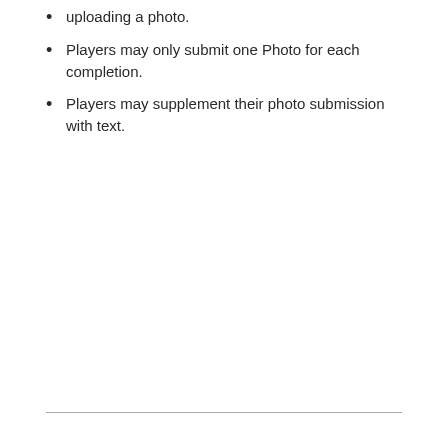uploading a photo.
Players may only submit one Photo for each completion.
Players may supplement their photo submission with text.